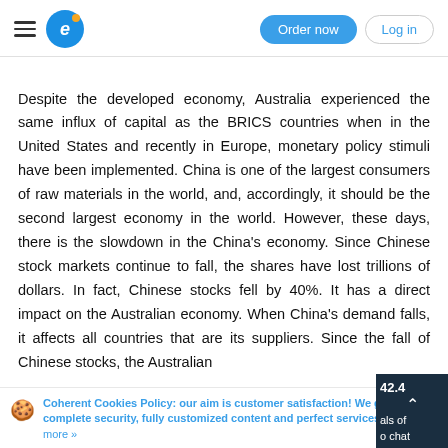Order now | Log in
Despite the developed economy, Australia experienced the same influx of capital as the BRICS countries when in the United States and recently in Europe, monetary policy stimuli have been implemented. China is one of the largest consumers of raw materials in the world, and, accordingly, it should be the second largest economy in the world. However, these days, there is the slowdown in the China's economy. Since Chinese stock markets continue to fall, the shares have lost trillions of dollars. In fact, Chinese stocks fell by 40%. It has a direct impact on the Australian economy. When China's demand falls, it affects all countries that are its suppliers. Since the fall of Chinese stocks, the Australian
Coherent Cookies Policy: our aim is customer satisfaction! We guarantee complete security, fully customized content and perfect services. Read more »